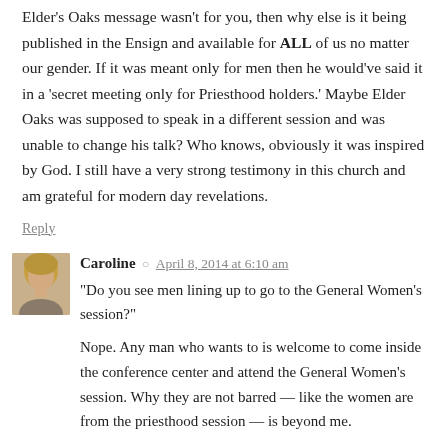Elder's Oaks message wasn't for you, then why else is it being published in the Ensign and available for ALL of us no matter our gender. If it was meant only for men then he would've said it in a 'secret meeting only for Priesthood holders.' Maybe Elder Oaks was supposed to speak in a different session and was unable to change his talk? Who knows, obviously it was inspired by God. I still have a very strong testimony in this church and am grateful for modern day revelations.
Reply
Caroline  April 8, 2014 at 6:10 am
“Do you see men lining up to go to the General Women’s session?”

Nope. Any man who wants to is welcome to come inside the conference center and attend the General Women’s session. Why they are not barred — like the women are from the priesthood session — is beyond me.